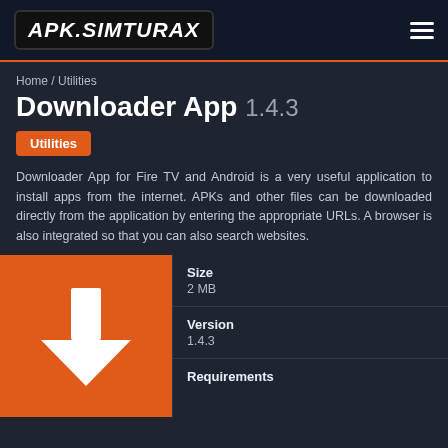APK SIMTURAX
Home / Utilities
Downloader App 1.4.3
Utilities
Downloader App for Fire TV and Android is a very useful application to install apps from the internet. APKs and other files can be downloaded directly from the application by entering the appropriate URLs. A browser is also integrated so that you can also search websites.
[Figure (illustration): Orange square icon with a white downward arrow/download icon in the center]
Size
2 MB
Version
1.4.3
Requirements